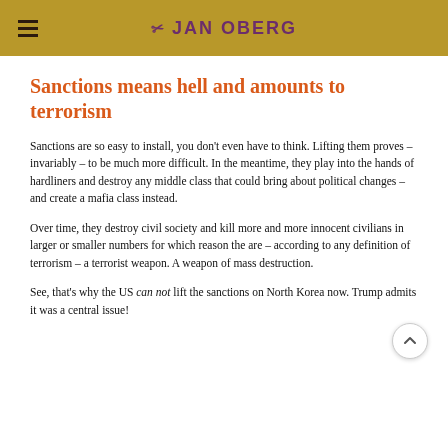JAN OBERG
Sanctions means hell and amounts to terrorism
Sanctions are so easy to install, you don’t even have to think. Lifting them proves – invariably – to be much more difficult. In the meantime, they play into the hands of hardliners and destroy any middle class that could bring about political changes – and create a mafia class instead.
Over time, they destroy civil society and kill more and more innocent civilians in larger or smaller numbers for which reason the are – according to any definition of terrorism – a terrorist weapon. A weapon of mass destruction.
See, that’s why the US can not lift the sanctions on North Korea now. Trump admits it was a central issue!